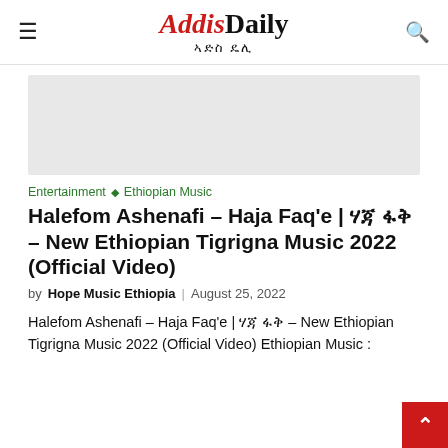AddisDaily ኣድስ ዴሊ
[Figure (other): Gray advertisement placeholder block]
Entertainment ◇ Ethiopian Music
Halefom Ashenafi – Haja Faq'e | ሃጃ ፋቅ – New Ethiopian Tigrigna Music 2022 (Official Video)
by Hope Music Ethiopia | August 25, 2022
Halefom Ashenafi – Haja Faq'e | ሃጃ ፋቅ – New Ethiopian Tigrigna Music 2022 (Official Video) Ethiopian Music :